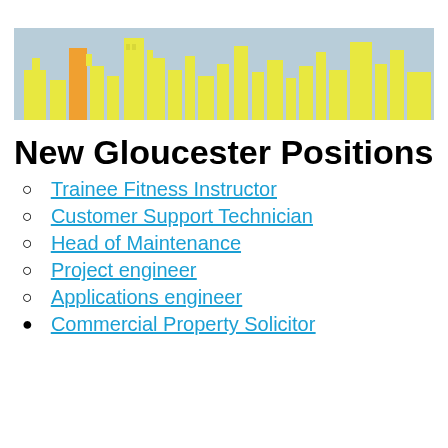[Figure (illustration): City skyline banner with yellow and orange buildings on a light blue background]
New Gloucester Positions
Trainee Fitness Instructor
Customer Support Technician
Head of Maintenance
Project engineer
Applications engineer
Commercial Property Solicitor